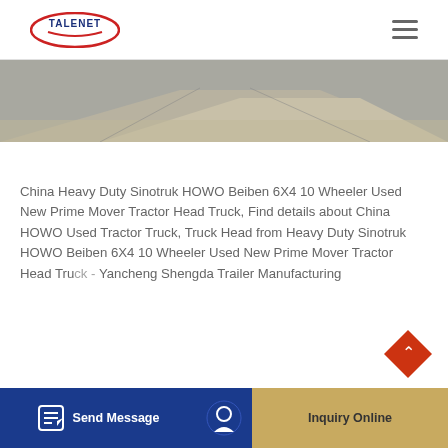TALENET
[Figure (photo): Partial view of a vehicle or road surface, grey and tan tones, cropped at top of page]
China Heavy Duty Sinotruk HOWO Beiben 6X4 10 Wheeler Used New Prime Mover Tractor Head Truck, Find details about China HOWO Used Tractor Truck, Truck Head from Heavy Duty Sinotruk HOWO Beiben 6X4 10 Wheeler Used New Prime Mover Tractor Head Truck - Yancheng Shengda Trailer Manufacturing
Send Message | Inquiry Online